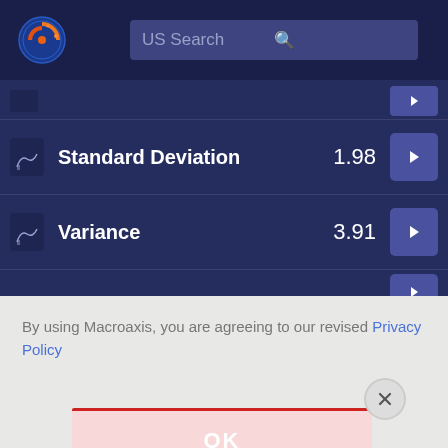[Figure (screenshot): Macroaxis application header with logo and US Search bar]
Standard Deviation  1.98
Variance  3.91
By using Macroaxis, you are agreeing to our revised Privacy Policy
OK